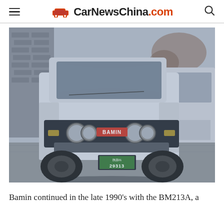CarNewsChina.com
[Figure (photo): Black and white vintage photograph of a white Bamin BM213A SUV/van parked on a street, front view showing license plate 29313, with brick buildings and another white vehicle in the background.]
Bamin continued in the late 1990’s with the BM213A, a